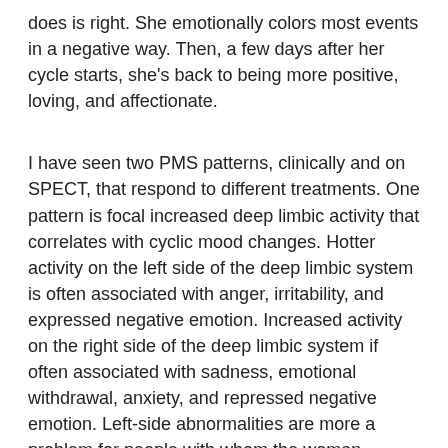does is right. She emotionally colors most events in a negative way. Then, a few days after her cycle starts, she's back to being more positive, loving, and affectionate.
I have seen two PMS patterns, clinically and on SPECT, that respond to different treatments. One pattern is focal increased deep limbic activity that correlates with cyclic mood changes. Hotter activity on the left side of the deep limbic system is often associated with anger, irritability, and expressed negative emotion. Increased activity on the right side of the deep limbic system if often associated with sadness, emotional withdrawal, anxiety, and repressed negative emotion. Left-side abnormalities are more a problem for people with whom the woman interacts (because of her outwardly directed anger and irritability), which right-side overactivitiy is more an internal problem.